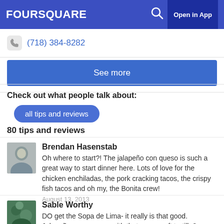FOURSQUARE  Open in App
(718) 384-8282
See more
Check out what people talk about:
all tips and reviews
80 tips and reviews
Brendan Hasenstab
Oh where to start?! The jalapeño con queso is such a great way to start dinner here. Lots of love for the chicken enchiladas, the pork cracking tacos, the crispy fish tacos and oh my, the Bonita crew!
August 13, 2013
Sable Worthy
DO get the Sopa de Lima- it really is that good. Jalapeños con queso, with that so, so soft tortilla? ¡Delicioso! Top it off with a puerco burrito, and you can call it a good night.